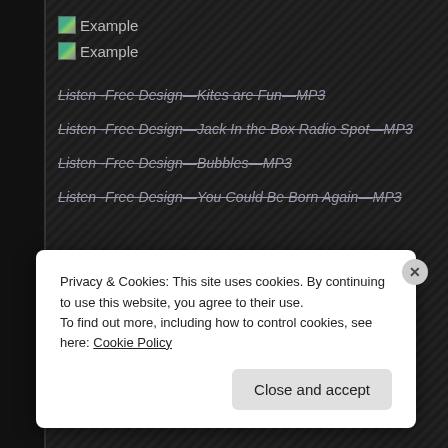[Figure (screenshot): Broken image placeholder labeled 'Example']
[Figure (screenshot): Broken image placeholder labeled 'Example']
Listen -Free Design—Kites are Fun—MP3
Listen -Free Design—Jack In the Box Radio Spot—MP3
Listen -Free Design—Bubbles—MP3
Listen -Free Design—You Could Be Born Again—MP3
Privacy & Cookies: This site uses cookies. By continuing to use this website, you agree to their use.
To find out more, including how to control cookies, see here: Cookie Policy
Close and accept